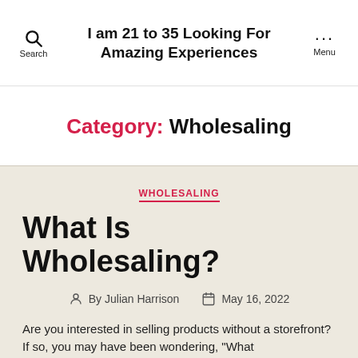I am 21 to 35 Looking For Amazing Experiences
Category: Wholesaling
WHOLESALING
What Is Wholesaling?
By Julian Harrison   May 16, 2022
Are you interested in selling products without a storefront? If so, you may have been wondering, "What